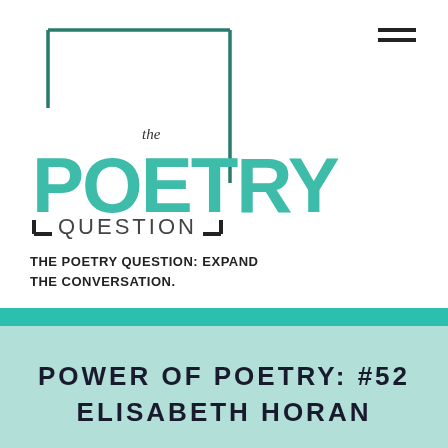[Figure (logo): The Poetry Question logo: a teal square bracket outline box with 'the' in italic inside and 'POETRY' in large teal bold sans-serif, 'QUESTION' in spaced uppercase with bracket corner marks]
THE POETRY QUESTION: EXPAND THE CONVERSATION.
POWER OF POETRY: #52 ELISABETH HORAN